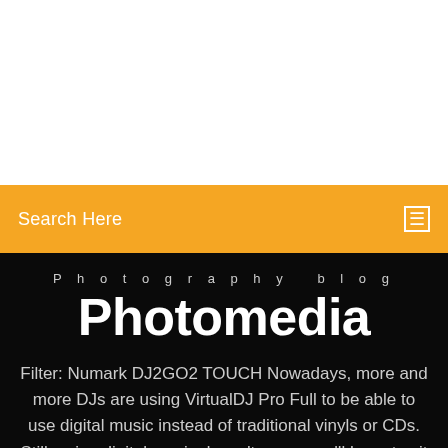[Figure (screenshot): White blank area at the top of the page, representing empty/cut-off content above the navigation bar]
Search Here
Photography blog
Photomedia
Filter: Numark DJ2GO2 TOUCH Nowadays, more and more DJs are using VirtualDJ Pro Full to be able to use digital music instead of traditional vinyls or CDs. Still, using digital music doesn't mean you'll have to sit behind a computer and use a mouse and keyboard.